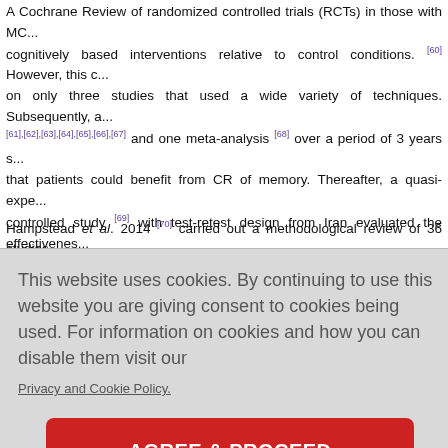A Cochrane Review of randomized controlled trials (RCTs) in those with MC... cognitively based interventions relative to control conditions. [60] However, this c... on only three studies that used a wide variety of techniques. Subsequently, a... [61],[62],[63],[64],[65],[66],[67] and one meta-analysis [68] over a period of 3 years s... that patients could benefit from CR of memory. Thereafter, a quasi-expe... controlled study [69] with test-retest design from Iran evaluated the effectivenes... attention in patients with MCI in older adults. CR comprised 12 sessions (2 h ea... the Neurocognitive Joyful Attentive Training Intervention. The results indicated th... improving selective focus in people with MCI.
Hampstead et al. 2014 [70] carried out a methodological review of 36 studies...
This website uses cookies. By continuing to use this website you are giving consent to cookies being used. For information on cookies and how you can disable them visit our Privacy and Cookie Policy.
important in the milder stages of AD or VaD as they may allow the person great...